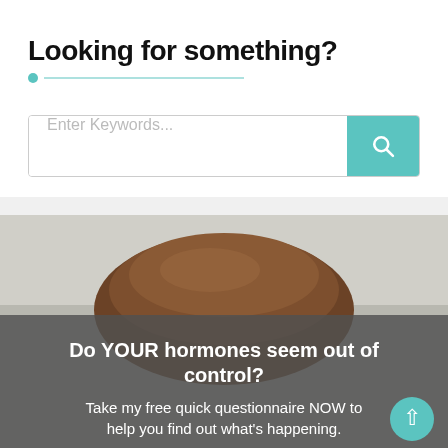Looking for something?
[Figure (screenshot): Search bar with teal search button and magnifying glass icon, placeholder text 'Enter Keywords...']
[Figure (photo): Photo of a person with brown hair, overlaid with dark grey semi-transparent banner containing text about hormones questionnaire]
Do YOUR hormones seem out of control?
Take my free quick questionnaire NOW to help you find out what's happening.